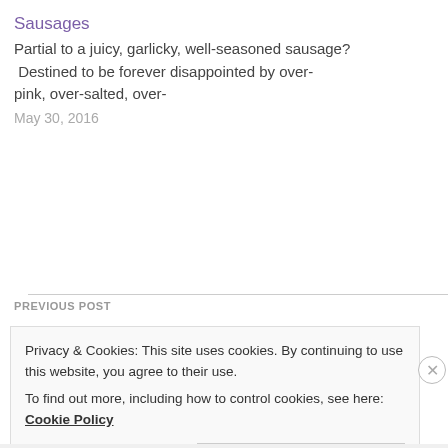Sausages
Partial to a juicy, garlicky, well-seasoned sausage?  Destined to be forever disappointed by over-pink, over-salted, over-
May 30, 2016
PREVIOUS POST
Privacy & Cookies: This site uses cookies. By continuing to use this website, you agree to their use.
To find out more, including how to control cookies, see here: Cookie Policy
Close and accept
REPORT THIS AD